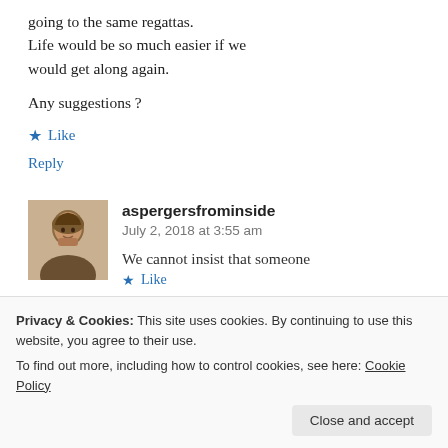going to the same regattas. Life would be so much easier if we would get along again.
Any suggestions ?
★ Like
Reply
aspergersfrominside
July 2, 2018 at 3:55 am
We cannot insist that someone
Privacy & Cookies: This site uses cookies. By continuing to use this website, you agree to their use.
To find out more, including how to control cookies, see here: Cookie Policy
Close and accept